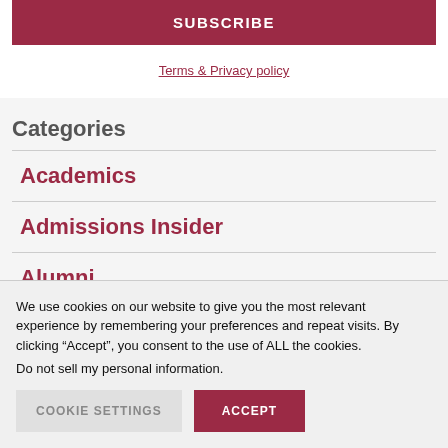SUBSCRIBE
Terms & Privacy policy
Categories
Academics
Admissions Insider
Alumni
We use cookies on our website to give you the most relevant experience by remembering your preferences and repeat visits. By clicking “Accept”, you consent to the use of ALL the cookies.
Do not sell my personal information.
COOKIE SETTINGS
ACCEPT